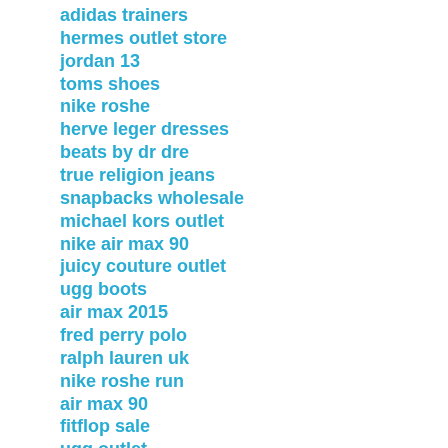adidas trainers
hermes outlet store
jordan 13
toms shoes
nike roshe
herve leger dresses
beats by dr dre
true religion jeans
snapbacks wholesale
michael kors outlet
nike air max 90
juicy couture outlet
ugg boots
air max 2015
fred perry polo
ralph lauren uk
nike roshe run
air max 90
fitflop sale
ugg outlet
nike roshe run shoes
nike roshe run